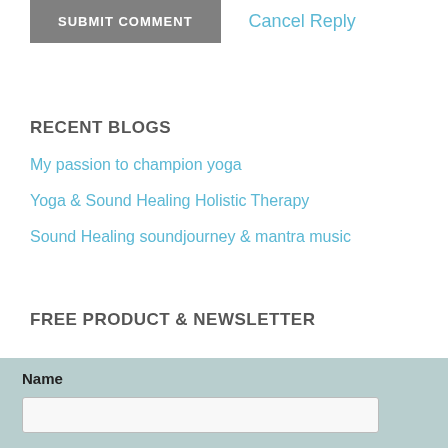SUBMIT COMMENT
Cancel Reply
RECENT BLOGS
My passion to champion yoga
Yoga & Sound Healing Holistic Therapy
Sound Healing soundjourney & mantra music
FREE PRODUCT & NEWSLETTER
Name
Email Address